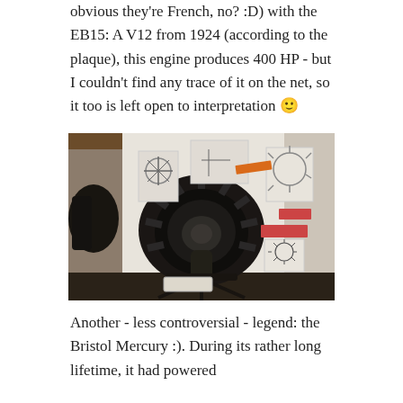obvious they're French, no? :D) with the EB15: A V12 from 1924 (according to the plaque), this engine produces 400 HP - but I couldn't find any trace of it on the net, so it too is left open to interpretation 🙂
[Figure (photo): A large black radial aircraft engine displayed on a metal stand in a museum setting. Behind it are white walls with framed technical drawings and display plaques. Other engines are visible to the left.]
Another - less controversial - legend: the Bristol Mercury :). During its rather long lifetime, it had powered